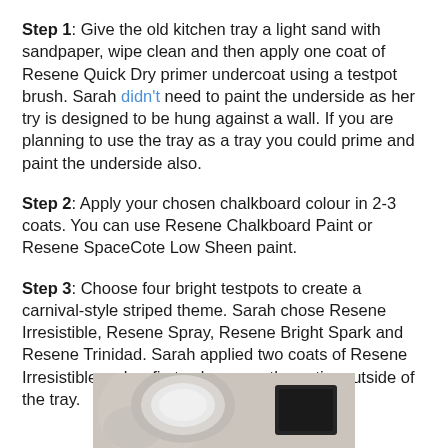Step 1:  Give the old kitchen tray a light sand with sandpaper, wipe clean and then apply one coat of Resene Quick Dry primer undercoat using a testpot brush. Sarah didn't need to paint the underside as her try is designed to be hung against a wall. If you are planning to use the tray as a tray you could prime and paint the underside also.
Step 2:  Apply your chosen chalkboard colour in 2-3 coats. You can use Resene Chalkboard Paint or Resene SpaceCote Low Sheen paint.
Step 3:  Choose four bright testpots to create a carnival-style striped theme. Sarah chose Resene Irresistible, Resene Spray, Resene Bright Spark and Resene Trinidad. Sarah applied two coats of Resene Irresistible as her first colour over the entire outside of the tray.
[Figure (photo): Photo showing two paint containers on a decorative surface — a round white/grey paint tin on the left and a dark rectangular item on the right.]